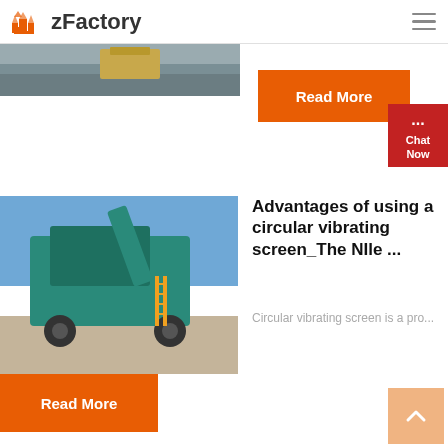zFactory
[Figure (photo): Partial view of heavy industrial machinery (crusher/screener) with gravel, cut off at top of page]
Read More
[Figure (screenshot): Chat Now widget with red background and speech bubble icon]
[Figure (photo): Teal colored mobile crushing/screening machine on a gravel site with blue sky background]
Advantages of using a circular vibrating screen_The NIle ...
Circular vibrating screen is a pro...
Read More